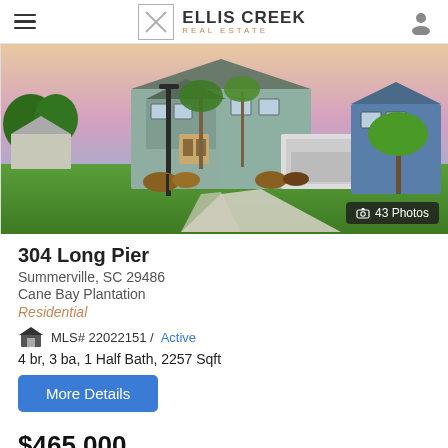Ellis Creek Real Estate
[Figure (photo): Exterior photo of a two-story residential home with palm trees, green lawn, and a concrete driveway. Shows a teal/gray house with white garage and evening sky. Badge reads '43 Photos'.]
304 Long Pier
Summerville, SC 29486
Cane Bay Plantation
Residential
MLS# 22022151 / Active
4 br, 3 ba, 1 Half Bath, 2257 Sqft
More Details
$465,000